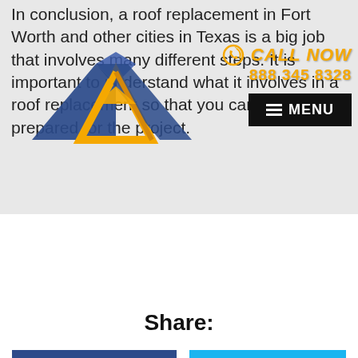In conclusion, a roof replacement in Fort Worth and other cities in Texas is a big job that involves many different steps. It is important to understand what it involves in a roof replacement so that you can be prepared for the project.
[Figure (logo): Roofing company logo with stylized house/roof shape in blue and gold/orange]
[Figure (infographic): Call Now overlay with phone icon and number 888 345 8328 in gold/yellow text, with MENU button in black]
If you have any further questions, or if you would like to schedule a free consultation, please contact our office. We would be more than happy to help you with your roof replacement project.
Share:
Facebook
Twitter